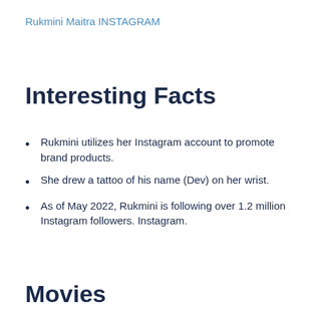Rukmini Maitra INSTAGRAM
Interesting Facts
Rukmini utilizes her Instagram account to promote brand products.
She drew a tattoo of his name (Dev) on her wrist.
As of May 2022, Rukmini is following over 1.2 million Instagram followers. Instagram.
Movies